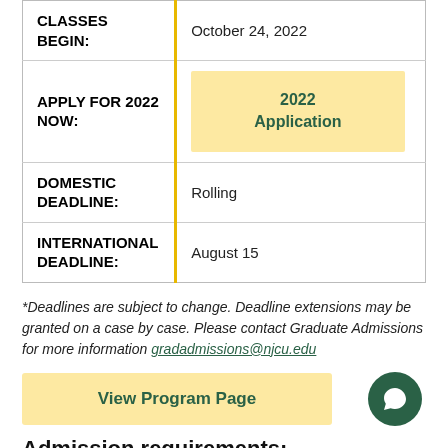|  |  |
| --- | --- |
| CLASSES BEGIN: | October 24, 2022 |
| APPLY FOR 2022 NOW: | 2022 Application |
| DOMESTIC DEADLINE: | Rolling |
| INTERNATIONAL DEADLINE: | August 15 |
*Deadlines are subject to change. Deadline extensions may be granted on a case by case. Please contact Graduate Admissions for more information gradadmissions@njcu.edu
View Program Page
Admission requirements: